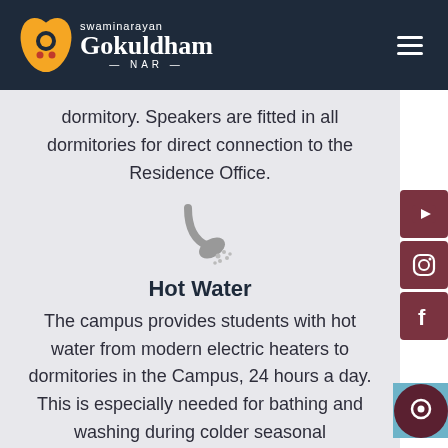Swaminarayan Gokuldham NAR
dormitory. Speakers are fitted in all dormitories for direct connection to the Residence Office.
[Figure (illustration): Gray shower head icon with water droplets]
Hot Water
The campus provides students with hot water from modern electric heaters to dormitories in the Campus, 24 hours a day. This is especially needed for bathing and washing during colder seasonal temperatures.
[Figure (illustration): Gray bucket/pail icon at bottom]